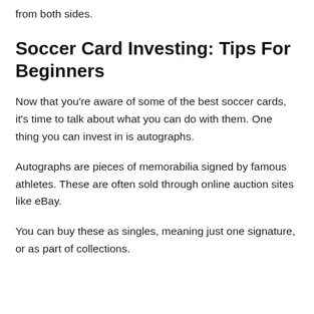from both sides.
Soccer Card Investing: Tips For Beginners
Now that you're aware of some of the best soccer cards, it's time to talk about what you can do with them. One thing you can invest in is autographs.
Autographs are pieces of memorabilia signed by famous athletes. These are often sold through online auction sites like eBay.
You can buy these as singles, meaning just one signature, or as part of collections.